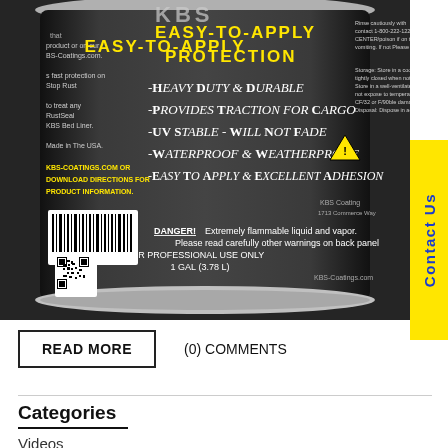[Figure (photo): Photo of a KBS Coatings product can (1 Gal / 3.78 L) showing label with 'EASY-TO-APPLY PROTECTION' in yellow text, bullet points listing Heavy Duty & Durable, Provides Traction For Cargo, UV Stable - Will Not Fade, Waterproof & Weatherproof, Easy To Apply & Excellent Adhesion, danger warning text, and a barcode/QR code. A yellow 'Contact Us' tab is on the right side.]
READ MORE
(0) COMMENTS
Categories
Videos